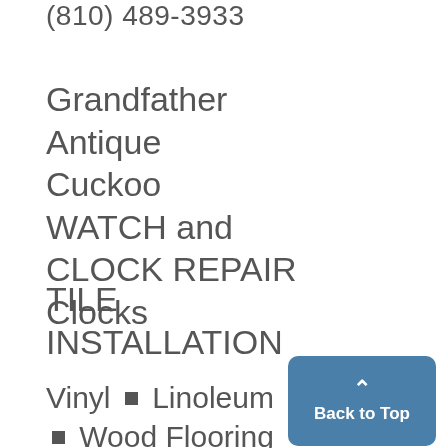(810) 489-3933
Grandfather
Antique
Cuckoo
WATCH and
CLOCK REPAIR
Clocks
TILE
INSTALLATION
Vinyl ■ Linoleum
■ Wood Flooring